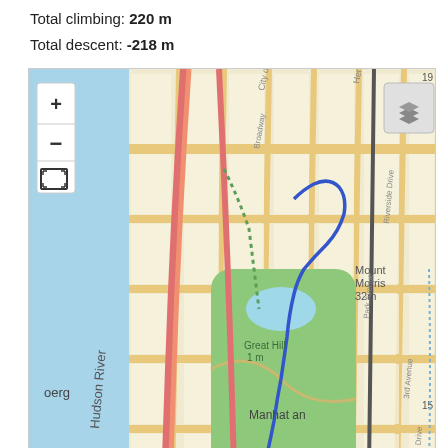Total climbing: 220 m
Total descent: -218 m
[Figure (map): Interactive map of Manhattan, New York showing a route (blue line) through Central Park area. Map shows Hudson River to the west, streets of Manhattan, Central Park with 'Great Hill' labeled, and surrounding areas. Map controls visible with zoom in/out and fullscreen buttons.]
Privacy & Cookies: This site uses cookies. By continuing to use this website, you agree to their use.
We use cookies to ensure that we give you the best experience on our website. If you continue to use this site we will assume that you are happy with it.
Ok